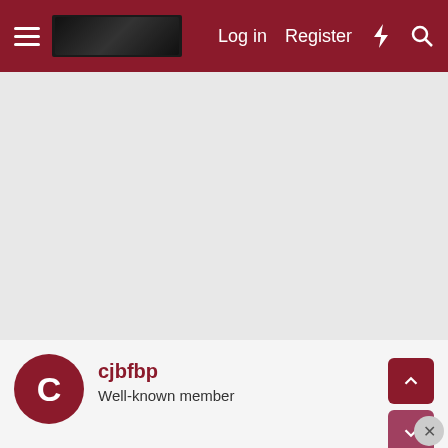Log in   Register
[Figure (screenshot): Gray advertisement/placeholder area]
cjbfbp
Well-known member
May 8, 2022   #2,46x
alchemy2u said:
So P5 rosters will only consist of players that are all deserving of